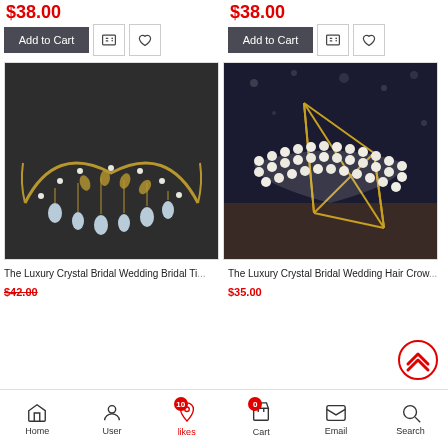$38.00 (left product price)
$38.00 (right product price)
[Figure (photo): Gold crystal bridal wedding tiara/crown with hanging crystal drops, photographed on dark grey background]
[Figure (photo): Pearl crystal bridal wedding hair crown/headband displayed on geometric gold frame stand, photographed on dark background with bokeh lights]
The Luxury Crystal Bridal Wedding Bridal Tia...
$42.00 (strikethrough)
The Luxury Crystal Bridal Wedding Hair Crown...
$35.00
Home  User  likes(10)  Cart(0)  Email  Search